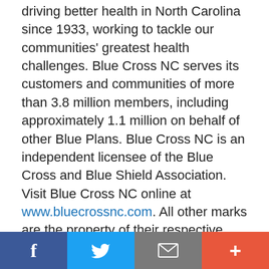driving better health in North Carolina since 1933, working to tackle our communities' greatest health challenges. Blue Cross NC serves its customers and communities of more than 3.8 million members, including approximately 1.1 million on behalf of other Blue Plans. Blue Cross NC is an independent licensee of the Blue Cross and Blue Shield Association. Visit Blue Cross NC online at www.bluecrossnc.com. All other marks are the property of their respective owners.
About Aledade
Founded in 2014, Aledade partners with independent practices, health centers, and clinics to build and lead Accountable Care Organizations.
[Figure (infographic): Social media sharing bar with Facebook, Twitter, Email, and More (+) buttons]